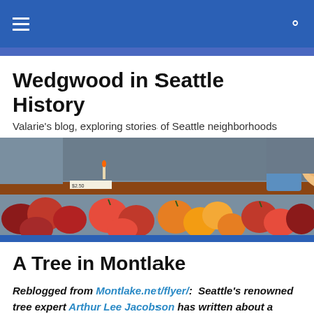Navigation bar with hamburger menu and search icon
Wedgwood in Seattle History
Valarie's blog, exploring stories of Seattle neighborhoods
[Figure (photo): A young child with curly blond hair looking over a market table display of colorful heirloom tomatoes in various shades of red, orange, and yellow]
A Tree in Montlake
Reblogged from Montlake.net/flyer/:  Seattle's renowned tree expert Arthur Lee Jacobson has written about a fallen cherry tree near the Montlake Community Center at 1618 E. Calhoun Street, on the